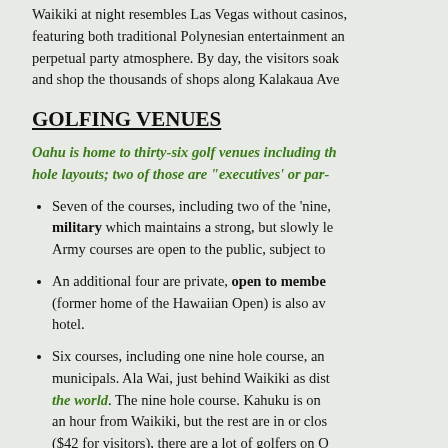Waikiki at night resembles Las Vegas without casinos, featuring both traditional Polynesian entertainment and a perpetual party atmosphere. By day, the visitors soak and shop the thousands of shops along Kalakaua Ave
GOLFING VENUES
Oahu is home to thirty-six golf venues including those with 18-hole layouts; two of those are "executives' or par-
Seven of the courses, including two of the 'nine, are military which maintains a strong, but slowly lessening Army courses are open to the public, subject to
An additional four are private, open to members (former home of the Hawaiian Open) is also available hotel.
Six courses, including one nine hole course, are municipals. Ala Wai, just behind Waikiki as dist the world. The nine hole course. Kahuku is on an hour from Waikiki, but the rest are in or close ($42 for visitors), there are a lot of golfers on O these layouts, particularly on weekends.
The remaining twenty-two are public or semip every day with rack rates ranging from $40 to $
Oahu is the only island with substantial numbers of loc